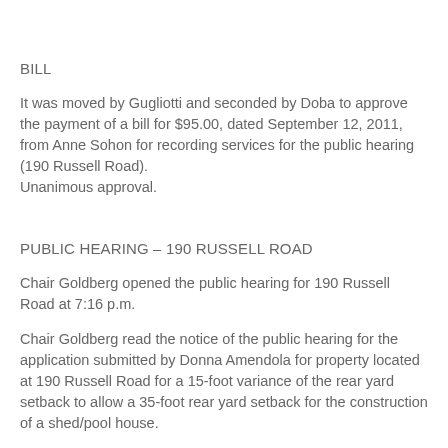BILL
It was moved by Gugliotti and seconded by Doba to approve the payment of a bill for $95.00, dated September 12, 2011, from Anne Sohon for recording services for the public hearing (190 Russell Road).
Unanimous approval.
PUBLIC HEARING – 190 RUSSELL ROAD
Chair Goldberg opened the public hearing for 190 Russell Road at 7:16 p.m.
Chair Goldberg read the notice of the public hearing for the application submitted by Donna Amendola for property located at 190 Russell Road for a 15-foot variance of the rear yard setback to allow a 35-foot rear yard setback for the construction of a shed/pool house.